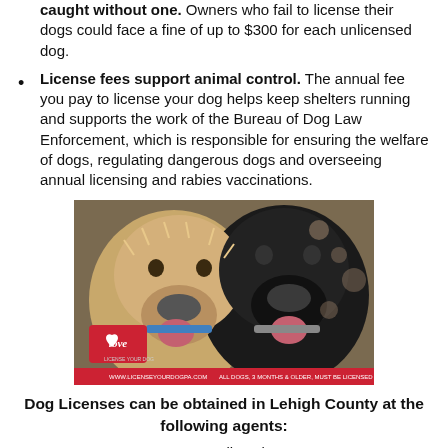caught without one. Owners who fail to license their dogs could face a fine of up to $300 for each unlicensed dog.
License fees support animal control. The annual fee you pay to license your dog helps keep shelters running and supports the work of the Bureau of Dog Law Enforcement, which is responsible for ensuring the welfare of dogs, regulating dangerous dogs and overseeing annual licensing and rabies vaccinations.
[Figure (photo): Photo of two dogs (a golden/cream doodle and a black Labrador) with a 'love' heart logo and text: www.licenseyourdogpa.com — All dogs, 3 months & older, must be licensed by January 1st]
Dog Licenses can be obtained in Lehigh County at the following agents:
Pet supplies plus
2433 MacArthur Rd,
Whitehall, PA 18052